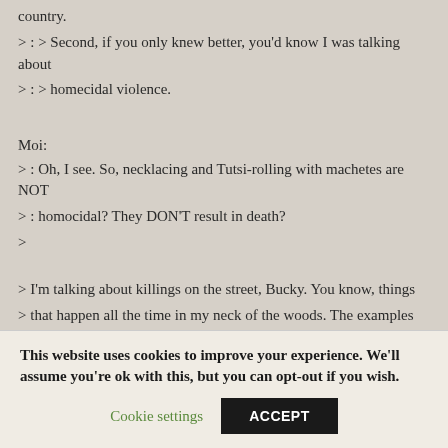country.
> : > Second, if you only knew better, you'd know I was talking about
> : > homecidal violence.
Moi:
> : Oh, I see. So, necklacing and Tutsi-rolling with machetes are NOT
> : homocidal? They DON'T result in death?
>
> I'm talking about killings on the street, Bucky. You know, things
> that happen all the time in my neck of the woods. The examples you gave
This website uses cookies to improve your experience. We'll assume you're ok with this, but you can opt-out if you wish.
Cookie settings
ACCEPT